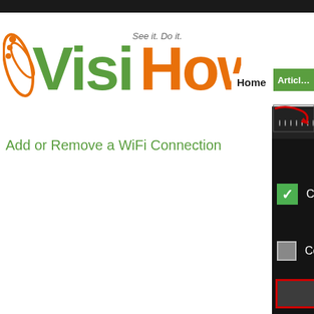[Figure (screenshot): VisiHow website screenshot showing a Windows WiFi connection dialog with 'Connect automatically' checkbox (checked, green), 'Connect even if this network' checkbox (unchecked), and a 'Save' button highlighted with a red rectangle border. Page title reads 'Add or Remove a WiFi Connection'. VisiHow logo visible at top and bottom watermark.]
Add or Remove a WiFi Connection